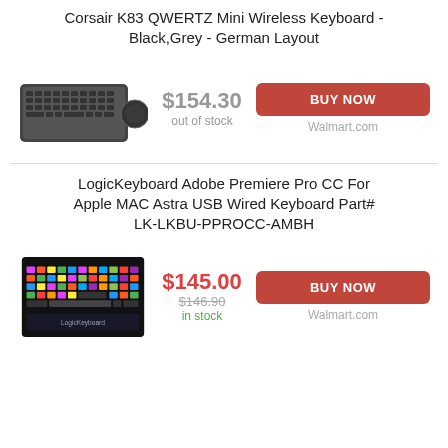Corsair K83 QWERTZ Mini Wireless Keyboard - Black,Grey - German Layout
[Figure (photo): Photo of Corsair K83 QWERTZ Mini Wireless Keyboard, dark gray compact keyboard with trackpad]
$154.30 out of stock
BUY NOW Walmart.com
LogicKeyboard Adobe Premiere Pro CC For Apple MAC Astra USB Wired Keyboard Part# LK-LKBU-PPROCC-AMBH
[Figure (photo): Photo of LogicKeyboard Adobe Premiere Pro CC keyboard with colorful shortcut keys on dark background]
$145.00 $146.90 in stock
BUY NOW Walmart.com